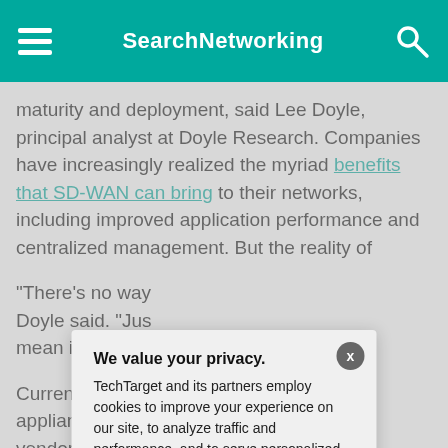SearchNetworking
maturity and deployment, said Lee Doyle, principal analyst at Doyle Research. Companies have increasingly realized the myriad benefits that SD-WAN can bring to their networks, including improved application performance and centralized management. But the reality of
"There's no way [... ] Doyle said. "Just [...] mean it's interop
Currently, compa[...] appliance to a d[...] vendor. "You wo[...] to plug it into a V
Although many s
We value your privacy. TechTarget and its partners employ cookies to improve your experience on our site, to analyze traffic and performance, and to serve personalized content and advertising that are relevant to your professional interests. You can manage your settings at any time. Please view our Privacy Policy for more information